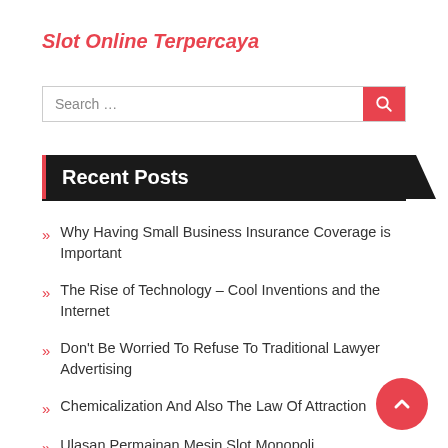Slot Online Terpercaya
Search ...
Recent Posts
Why Having Small Business Insurance Coverage is Important
The Rise of Technology – Cool Inventions and the Internet
Don't Be Worried To Refuse To Traditional Lawyer Advertising
Chemicalization And Also The Law Of Attraction
Ulasan Permainan Mesin Slot Monopoli